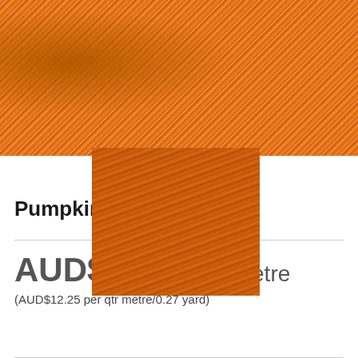[Figure (photo): Close-up photograph of orange/pumpkin colored woven fabric texture with golden highlights]
[Figure (photo): Smaller close-up of the same pumpkin orange fabric, showing a folded or draped view]
Pumpkin Leon
AUD$49.00 per metre
(AUD$12.25 per qtr metre/0.27 yard)